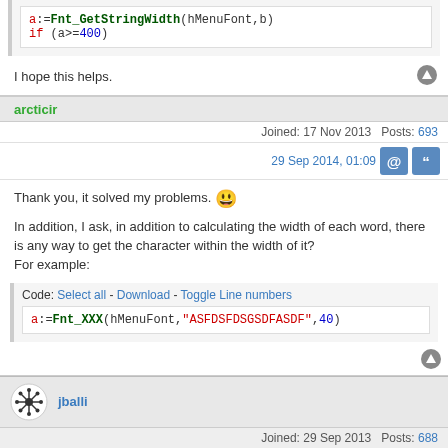[Figure (screenshot): Code snippet showing: a:=Fnt_GetStringWidth(hMenuFont,b) and if (a>=400)]
I hope this helps.
arcticir
Joined: 17 Nov 2013   Posts: 693
29 Sep 2014, 01:09
Thank you, it solved my problems. 😄
In addition, I ask, in addition to calculating the width of each word, there is any way to get the character within the width of it?
For example:
[Figure (screenshot): Code block: Code: Select all - Download - Toggle Line numbers. a:=Fnt_XXX(hMenuFont,"ASFDSFDSGSDFASDF",40)]
jballi
Joined: 29 Sep 2013   Posts: 688